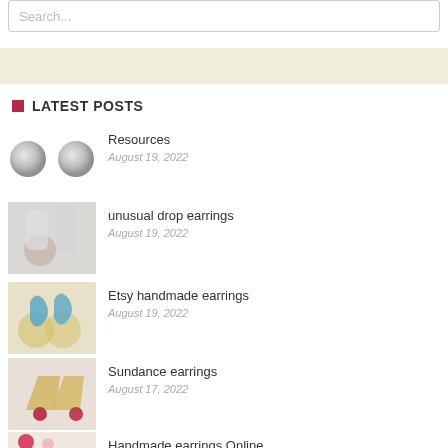Search...
LATEST POSTS
Resources
August 19, 2022
unusual drop earrings
August 19, 2022
Etsy handmade earrings
August 19, 2022
Sundance earrings
August 17, 2022
Handmade earrings Online
July 30, 2022